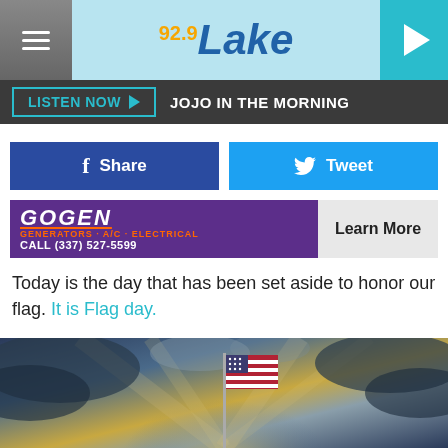92.9 The Lake — LISTEN NOW ▶ JOJO IN THE MORNING
[Figure (screenshot): Facebook Share button (blue) and Twitter Tweet button (light blue)]
[Figure (illustration): Advertisement banner for GOGEN Generators A/C Electrical, CALL (337) 527-5599, Learn More button]
Today is the day that has been set aside to honor our flag. It is Flag day.
[Figure (photo): American flag against a dramatic cloudy sky at sunset/dusk]